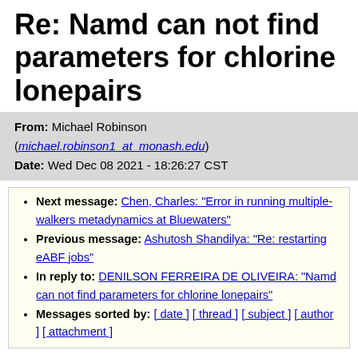Re: Namd can not find parameters for chlorine lonepairs
From: Michael Robinson (michael.robinson1_at_monash.edu)
Date: Wed Dec 08 2021 - 18:26:27 CST
Next message: Chen, Charles: "Error in running multiple-walkers metadynamics at Bluewaters"
Previous message: Ashutosh Shandilya: "Re: restarting eABF jobs"
In reply to: DENILSON FERREIRA DE OLIVEIRA: "Namd can not find parameters for chlorine lonepairs"
Messages sorted by: [ date ] [ thread ] [ subject ] [ author ] [ attachment ]
Dear Denilson,
Dummy bonds between lonepair 'atoms' and real atoms were dropped early in development, so there shouldn't be a bond present - see a relatively